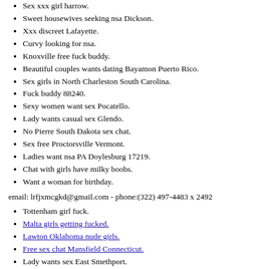Sex xxx girl harrow.
Sweet housewives seeking nsa Dickson.
Xxx discreet Lafayette.
Curvy looking for nsa.
Knoxville free fuck buddy.
Beautiful couples wants dating Bayamon Puerto Rico.
Sex girls in North Charleston South Carolina.
Fuck buddy 88240.
Sexy women want sex Pocatello.
Lady wants casual sex Glendo.
No Pierre South Dakota sex chat.
Sex free Proctorsville Vermont.
Ladies want nsa PA Doylesburg 17219.
Chat with girls have milky boobs.
Want a woman for birthday.
email: lrfjxmcgkd@gmail.com - phone:(322) 497-4483 x 2492
Tottenham girl fuck.
Malta girls getting fucked.
Lawton Oklahoma nude girls.
Free sex chat Mansfield Connecticut.
Lady wants sex East Smethport.
Personals in Courtland.
Armbrust PA adult personals.